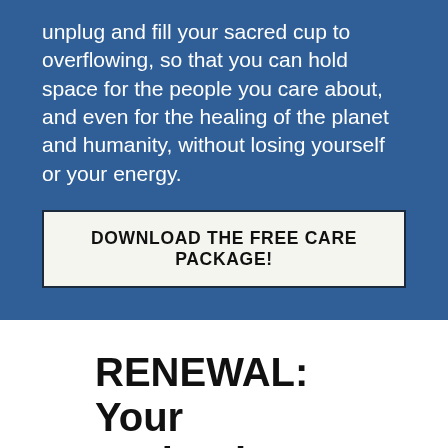unplug and fill your sacred cup to overflowing, so that you can hold space for the people you care about, and even for the healing of the planet and humanity, without losing yourself or your energy.
DOWNLOAD THE FREE CARE PACKAGE!
RENEWAL: Your Springtime Playlist
Mental Health | 0 comments